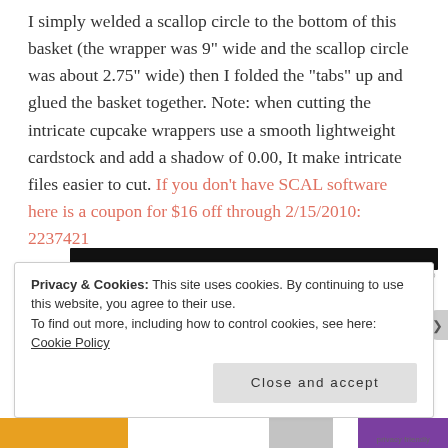I simply welded a scallop circle to the bottom of this basket (the wrapper was 9" wide and the scallop circle was about 2.75" wide) then I folded the "tabs" up and glued the basket together. Note: when cutting the intricate cupcake wrappers use a smooth lightweight cardstock and add a shadow of 0.00, It make intricate files easier to cut. If you don't have SCAL software here is a coupon for $16 off through 2/15/2010: 2237421
[Figure (other): Black advertisement banner with REPORT THIS AD label]
Privacy & Cookies: This site uses cookies. By continuing to use this website, you agree to their use.
To find out more, including how to control cookies, see here: Cookie Policy
Close and accept